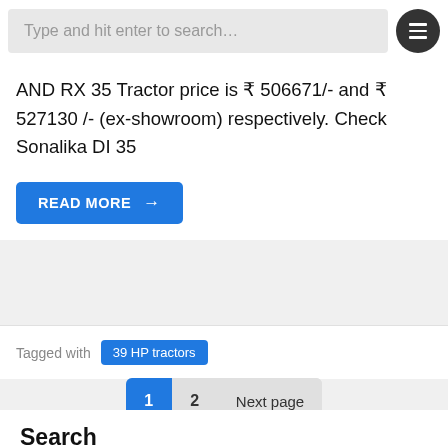Type and hit enter to search…
AND RX 35 Tractor price is ₹ 506671/- and ₹ 527130 /- (ex-showroom) respectively. Check Sonalika DI 35
READ MORE →
Tagged with 39 HP tractors
1  2  Next page
Search